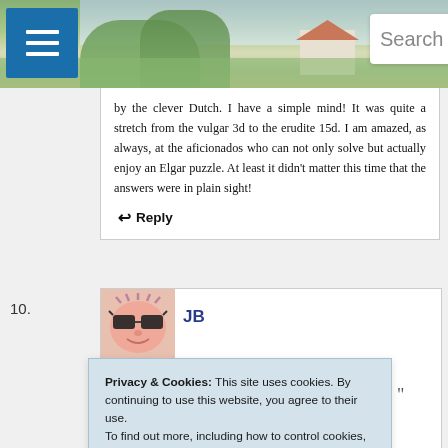[Figure (screenshot): Website header with navigation hamburger menu button in blue, landscape background photo showing green fields and countryside, and a search box reading 'Search bigdave44.c']
by the clever Dutch. I have a simple mind! It was quite a stretch from the vulgar 3d to the erudite 15d. I am amazed, as always, at the aficionados who can not only solve but actually enjoy an Elgar puzzle. At least it didn't matter this time that the answers were in plain sight!
↩ Reply
10.
[Figure (photo): Avatar image showing a cartoon face with sunglasses and pink features]
JB
Privacy & Cookies: This site uses cookies. By continuing to use this website, you agree to their use.
To find out more, including how to control cookies, see here: Cookie Policy
Close and accept
May 20, 2022 at 8:48 pm
Wire is a slang word for pickpocket. It's confirmed in the